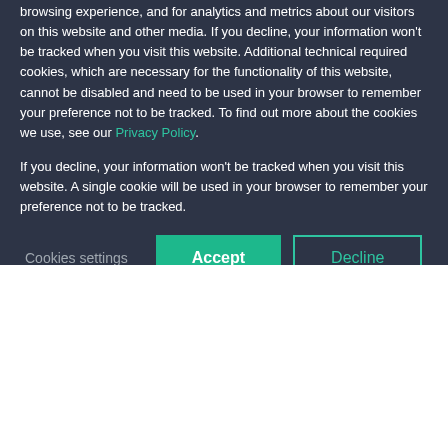browsing experience, and for analytics and metrics about our visitors on this website and other media. If you decline, your information won't be tracked when you visit this website. Additional technical required cookies, which are necessary for the functionality of this website, cannot be disabled and need to be used in your browser to remember your preference not to be tracked. To find out more about the cookies we use, see our Privacy Policy.
If you decline, your information won't be tracked when you visit this website. A single cookie will be used in your browser to remember your preference not to be tracked.
Cookies settings
Accept
Decline
Pharma packaging solutions